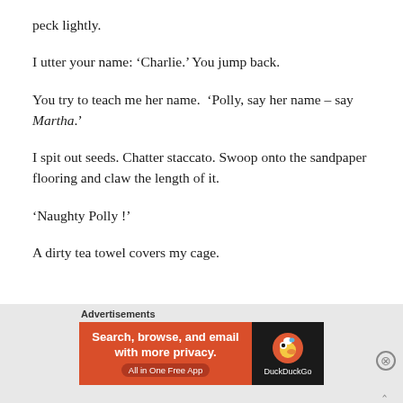peck lightly.
I utter your name: ‘Charlie.’ You jump back.
You try to teach me her name.  ‘Polly, say her name – say Martha.’
I spit out seeds. Chatter staccato. Swoop onto the sandpaper flooring and claw the length of it.
‘Naughty Polly !’
A dirty tea towel covers my cage.
[Figure (screenshot): Advertisement banner: DuckDuckGo app ad with orange background on left reading 'Search, browse, and email with more privacy. All in One Free App' and dark right panel with DuckDuckGo logo and name.]